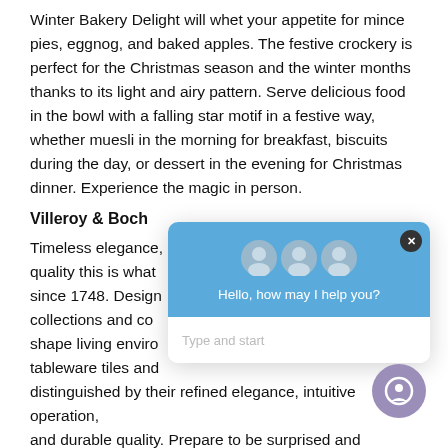Winter Bakery Delight will whet your appetite for mince pies, eggnog, and baked apples. The festive crockery is perfect for the Christmas season and the winter months thanks to its light and airy pattern. Serve delicious food in the bowl with a falling star motif in a festive way, whether muesli in the morning for breakfast, biscuits during the day, or dessert in the evening for Christmas dinner. Experience the magic in person.
Villeroy & Boch
Timeless elegance, quality this is what since 1748. Design collections and co shape living environ tableware tiles and distinguished by their refined elegance, intuitive operation, and durable quality. Prepare to be surprised and impressed by the innovative "made by Villeroy & Bo design.
[Figure (screenshot): Chat widget overlay with blue header showing three user avatars, greeting text 'Hello, how may I help you?', and a text input placeholder 'Type and start'. A close button (X) is in the top right corner.]